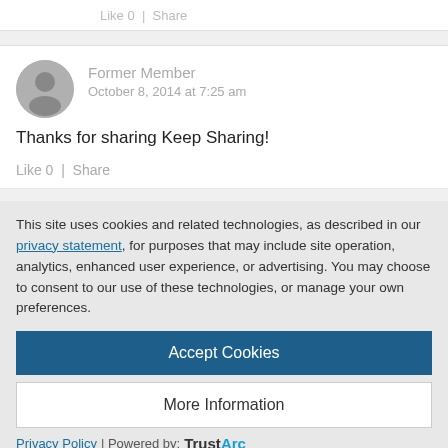Like 0  |  Share
Former Member
October 8, 2014 at 7:25 am
Thanks for sharing Keep Sharing!
Like 0  |  Share
This site uses cookies and related technologies, as described in our privacy statement, for purposes that may include site operation, analytics, enhanced user experience, or advertising. You may choose to consent to our use of these technologies, or manage your own preferences.
Accept Cookies
More Information
Privacy Policy | Powered by: TrustArc
Steph